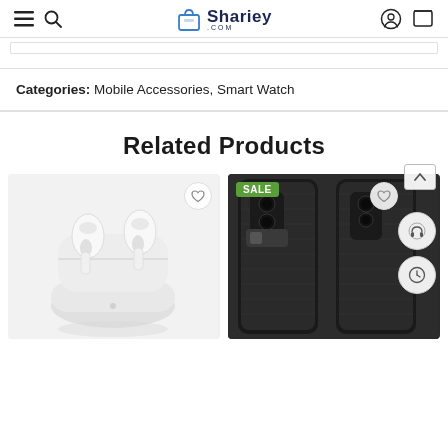Shariey.com
Categories: Mobile Accessories, Smart Watch
Related Products
[Figure (photo): AirPods Pro with charging case on white/gray background]
[Figure (photo): Phone cases with SALE badge, two dark textured phone cases side by side]